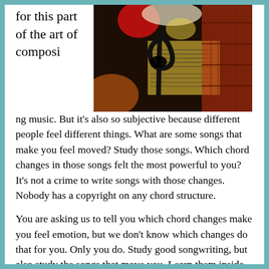for this part of the art of composing music.
[Figure (photo): Abstract artistic image with musical elements including a treble clef, sheet music, and guitar in dark tones of black, red, yellow and white]
ng music. But it’s also so subjective because different people feel different things. What are some songs that make you feel moved? Study those songs. Which chord changes in those songs felt the most powerful to you? It’s not a crime to write songs with those changes. Nobody has a copyright on any chord structure.
You are asking us to tell you which chord changes make you feel emotion, but we don’t know which changes do that for you. Only you do. Study good songwriting, but also study the songs that move you. Learn them inside and out. Which chord inversions are your favorite songs using? Moving